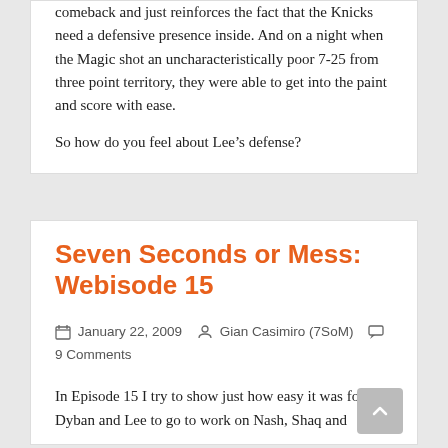comeback and just reinforces the fact that the Knicks need a defensive presence inside. And on a night when the Magic shot an uncharacteristically poor 7-25 from three point territory, they were able to get into the paint and score with ease.
So how do you feel about Lee’s defense?
Seven Seconds or Mess: Webisode 15
January 22, 2009   Gian Casimiro (7SoM)   9 Comments
In Episode 15 I try to show just how easy it was for Dyban and Lee to go to work on Nash, Shaq and...